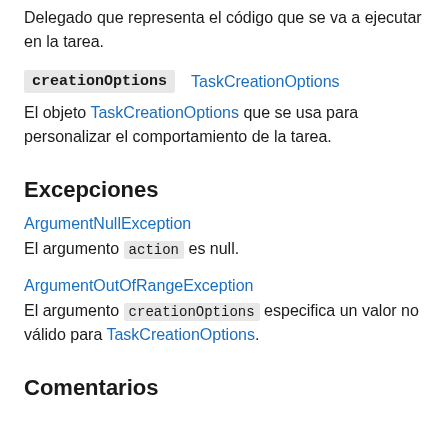Delegado que representa el código que se va a ejecutar en la tarea.
creationOptions   TaskCreationOptions
El objeto TaskCreationOptions que se usa para personalizar el comportamiento de la tarea.
Excepciones
ArgumentNullException
El argumento action es null.
ArgumentOutOfRangeException
El argumento creationOptions especifica un valor no válido para TaskCreationOptions.
Comentarios